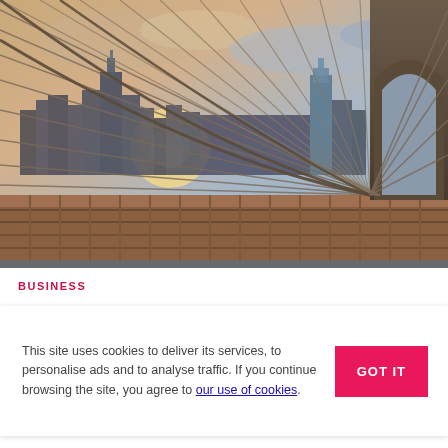[Figure (photo): Photograph of the Brooklyn Bridge cables and tower in the foreground, with the Manhattan skyline and sunset visible through the steel cable grid behind it. Warm golden light, dramatic perspective.]
BUSINESS
This site uses cookies to deliver its services, to personalise ads and to analyse traffic. If you continue browsing the site, you agree to our use of cookies.